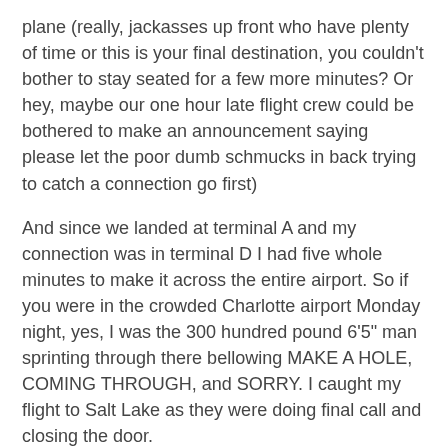plane (really, jackasses up front who have plenty of time or this is your final destination, you couldn't bother to stay seated for a few more minutes? Or hey, maybe our one hour late flight crew could be bothered to make an announcement saying please let the poor dumb schmucks in back trying to catch a connection go first)
And since we landed at terminal A and my connection was in terminal D I had five whole minutes to make it across the entire airport. So if you were in the crowded Charlotte airport Monday night, yes, I was the 300 hundred pound 6'5" man sprinting through there bellowing MAKE A HOLE, COMING THROUGH, and SORRY. I caught my flight to Salt Lake as they were doing final call and closing the door.
Big men hate running. I'm actually a far better sprinter than you'd guess by looking at me, but that doesn't mean I like it. Oh hey, other passengers crammed next to the giant panting man, sorry I'm suddenly drenched in sweat. Nice to meet you too.